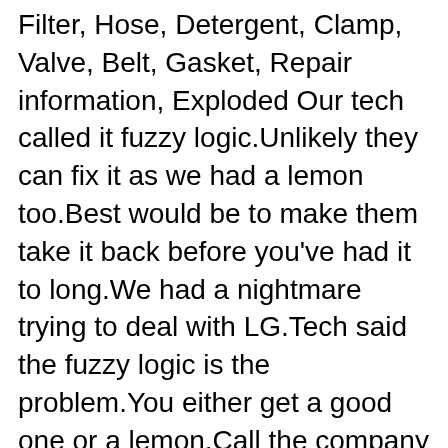Filter, Hose, Detergent, Clamp, Valve, Belt, Gasket, Repair information, Exploded Our tech called it fuzzy logic.Unlikely they can fix it as we had a lemon too.Best would be to make them take it back before you've had it to long.We had a nightmare trying to deal with LG.Tech said the fuzzy logic is the problem.You either get a good one or a lemon.Call the company you bought it from LG will be no help.The customer service are a bunch of parrots you won't get anywhere with them.
Get information on the LG 8.5kg Top Loading Washing Machine (WELS 3 Star, 117.1 Litres per wash). Find pictures, reviews, and technical specifications for this WF-T857...